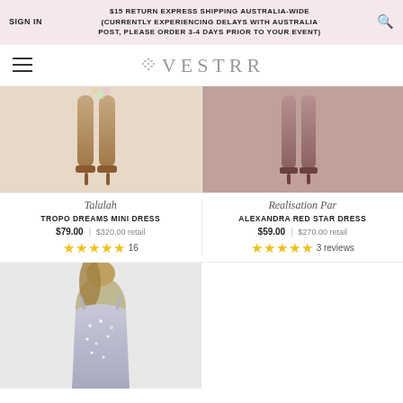SIGN IN | $15 RETURN EXPRESS SHIPPING AUSTRALIA-WIDE (CURRENTLY EXPERIENCING DELAYS WITH AUSTRALIA POST, PLEASE ORDER 3-4 DAYS PRIOR TO YOUR EVENT)
[Figure (logo): VESTRR logo with diamond/dot pattern icon]
[Figure (photo): Left product: legs of model wearing Talulah Tropo Dreams Mini Dress with heeled sandals, floral detail visible]
Talulah
TROPO DREAMS MINI DRESS
$79.00 | $320.00 retail
★★★★★ 16
[Figure (photo): Right product: legs of model wearing Realisation Par Alexandra Red Star Dress with heeled shoes]
Realisation Par
ALEXANDRA RED STAR DRESS
$59.00 | $270.00 retail
★★★★★ 3 reviews
[Figure (photo): Bottom product: model in silver/grey sequined dress, partial view showing torso and top portion]